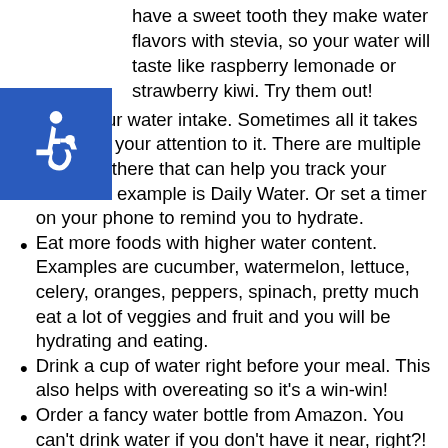have a sweet tooth they make water flavors with stevia, so your water will taste like raspberry lemonade or strawberry kiwi. Try them out!
Track your water intake. Sometimes all it takes is brining your attention to it. There are multiple apps out there that can help you track your water. An example is Daily Water. Or set a timer on your phone to remind you to hydrate.
Eat more foods with higher water content. Examples are cucumber, watermelon, lettuce, celery, oranges, peppers, spinach, pretty much eat a lot of veggies and fruit and you will be hydrating and eating.
Drink a cup of water right before your meal. This also helps with overeating so it's a win-win!
Order a fancy water bottle from Amazon. You can't drink water if you don't have it near, right?! Well buy that cute water bottle and it will be